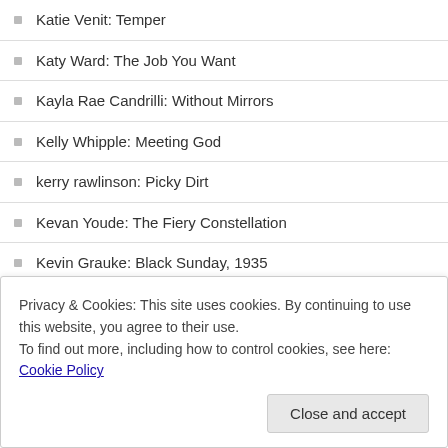Katie Venit: Temper
Katy Ward: The Job You Want
Kayla Rae Candrilli: Without Mirrors
Kelly Whipple: Meeting God
kerry rawlinson: Picky Dirt
Kevan Youde: The Fiery Constellation
Kevin Grauke: Black Sunday, 1935
Kevin Tosca: Art
Kevin Tosca: Ode to Lubitsch
Kevin Tosca: Will the Real Ernest Hemingway Please Stand Up?
Kevlin Henney: Marking Loss
Privacy & Cookies: This site uses cookies. By continuing to use this website, you agree to their use.
To find out more, including how to control cookies, see here: Cookie Policy
Close and accept